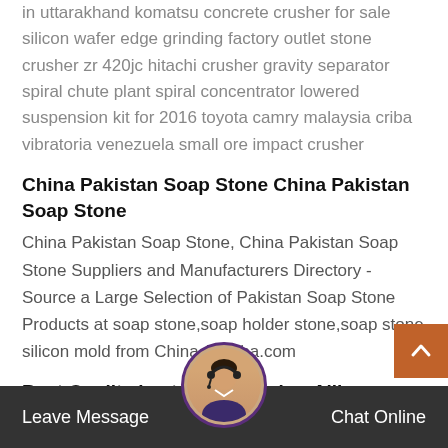in uttarakhand komatsu concrete crusher for sale silicon wafer edge grinding factory outlet stone crusher zr 420jc hitachi crusher gravity separator spiral chute plant spiral concentrator lowered suspension kit for 2016 toyota camry malaysia criba vibratoria venezuela small ore impact crusher
China Pakistan Soap Stone China Pakistan Soap Stone
China Pakistan Soap Stone, China Pakistan Soap Stone Suppliers and Manufacturers Directory - Source a Large Selection of Pakistan Soap Stone Products at soap stone,soap holder stone,soap stone silicon mold from China Alibaba.com
Best Quality best stone crusher Alibaba.com
Stone Crusher High Quality Large Semi-Mobile Stone C... $00,0... $3,000...